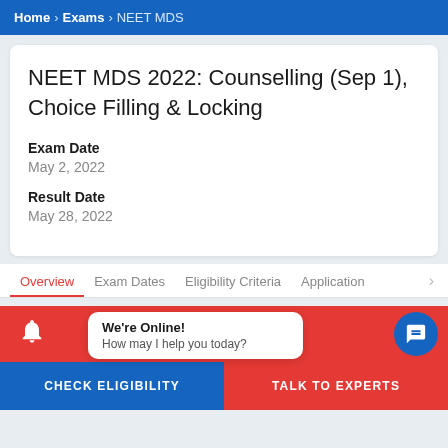Home > Exams > NEET MDS
NEET MDS 2022: Counselling (Sep 1), Choice Filling & Locking
Exam Date
May 2, 2022
Result Date
May 28, 2022
Overview  Exam Dates  Eligibility Criteria  Application  >
We're Online!
How may I help you today?
CHECK ELIGIBILITY    TALK TO EXPERTS